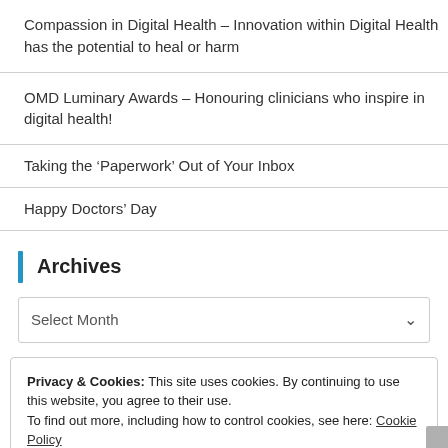Compassion in Digital Health – Innovation within Digital Health has the potential to heal or harm
OMD Luminary Awards – Honouring clinicians who inspire in digital health!
Taking the ‘Paperwork’ Out of Your Inbox
Happy Doctors’ Day
Archives
Select Month
Privacy & Cookies: This site uses cookies. By continuing to use this website, you agree to their use.
To find out more, including how to control cookies, see here: Cookie Policy
Close and accept